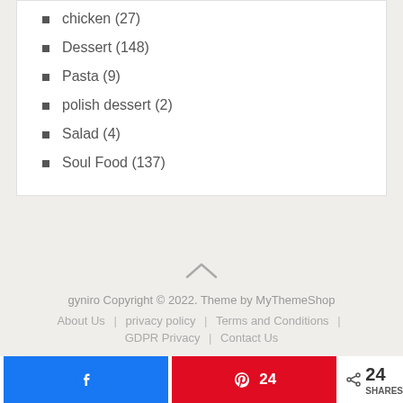chicken (27)
Dessert (148)
Pasta (9)
polish dessert (2)
Salad (4)
Soul Food (137)
gyniro Copyright © 2022. Theme by MyThemeShop | About Us | privacy policy | Terms and Conditions | GDPR Privacy | Contact Us